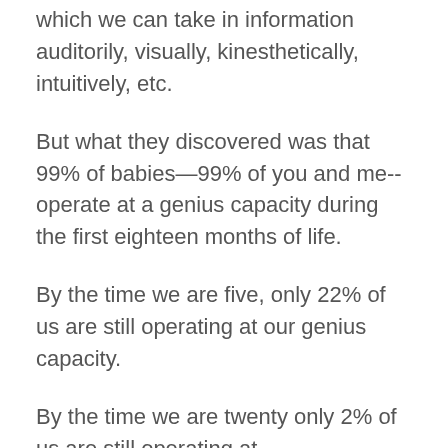which we can take in information auditorily, visually, kinesthetically, intuitively, etc.
But what they discovered was that 99% of babies—99% of you and me--operate at a genius capacity during the first eighteen months of life.
By the time we are five, only 22% of us are still operating at our genius capacity.
By the time we are twenty only 2% of us are still operating at...